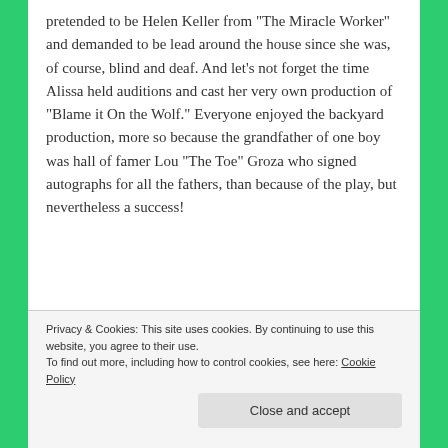pretended to be Helen Keller from "The Miracle Worker" and demanded to be lead around the house since she was, of course, blind and deaf. And let's not forget the time Alissa held auditions and cast her very own production of "Blame it On the Wolf." Everyone enjoyed the backyard production, more so because the grandfather of one boy was hall of famer Lou "The Toe" Groza who signed autographs for all the fathers, than because of the play, but nevertheless a success!
Privacy & Cookies: This site uses cookies. By continuing to use this website, you agree to their use.
To find out more, including how to control cookies, see here: Cookie Policy
Close and accept